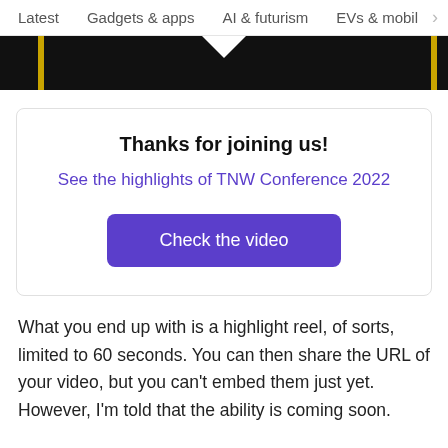Latest   Gadgets & apps   AI & futurism   EVs & mobil  >
[Figure (photo): Partial dark/black image strip with a white downward notch in the center and gold vertical bars on left and right edges]
Thanks for joining us!
See the highlights of TNW Conference 2022
Check the video
What you end up with is a highlight reel, of sorts, limited to 60 seconds. You can then share the URL of your video, but you can't embed them just yet. However, I'm told that the ability is coming soon.